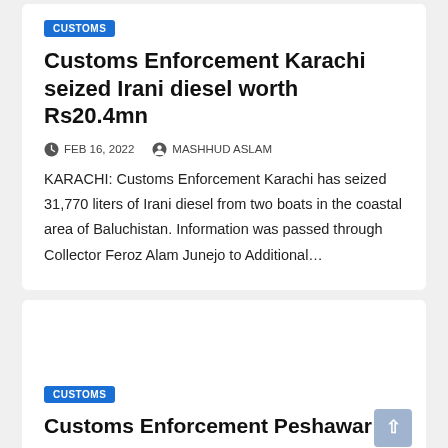CUSTOMS
Customs Enforcement Karachi seized Irani diesel worth Rs20.4mn
FEB 16, 2022   MASHHUD ASLAM
KARACHI: Customs Enforcement Karachi has seized 31,770 liters of Irani diesel from two boats in the coastal area of Baluchistan. Information was passed through Collector Feroz Alam Junejo to Additional…
CUSTOMS
Customs Enforcement Peshawar